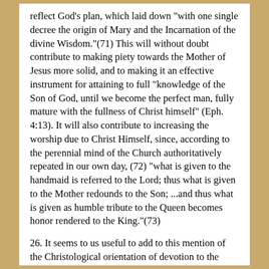reflect God's plan, which laid down "with one single decree the origin of Mary and the Incarnation of the divine Wisdom."(71) This will without doubt contribute to making piety towards the Mother of Jesus more solid, and to making it an effective instrument for attaining to full "knowledge of the Son of God, until we become the perfect man, fully mature with the fullness of Christ himself" (Eph. 4:13). It will also contribute to increasing the worship due to Christ Himself, since, according to the perennial mind of the Church authoritatively repeated in our own day, (72) "what is given to the handmaid is referred to the Lord; thus what is given to the Mother redounds to the Son; ...and thus what is given as humble tribute to the Queen becomes honor rendered to the King."(73)
26. It seems to us useful to add to this mention of the Christological orientation of devotion to the Blessed Virgin a reminder of the fittingness of giving prominence in this devotion to one of the essential facts of the Faith: the Person and work